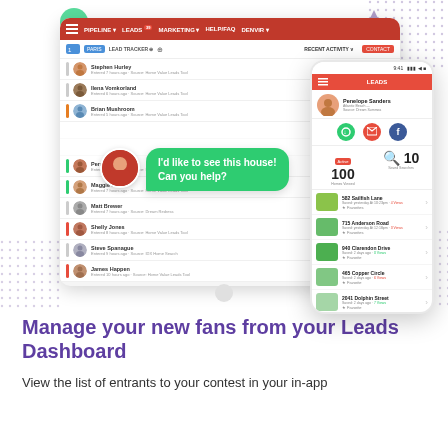[Figure (screenshot): Screenshot of a real estate Leads Dashboard web interface showing lead tracker with multiple leads listed (Stephen Hurley, Ilena Vomkorland, Brian Mushroom, Penelope Sanders, Maggie Jones, Matt Brewer, Shelly Jones, Steve Spanague, James Happen), alongside a green chat bubble saying 'I'd like to see this house! Can you help?' with a female avatar, and a mobile phone screen showing the LEADS app with Penelope Sanders' profile, 100 Homes Viewed, 10 Saved Searches, and property listings.]
Manage your new fans from your Leads Dashboard
View the list of entrants to your contest in your in-app